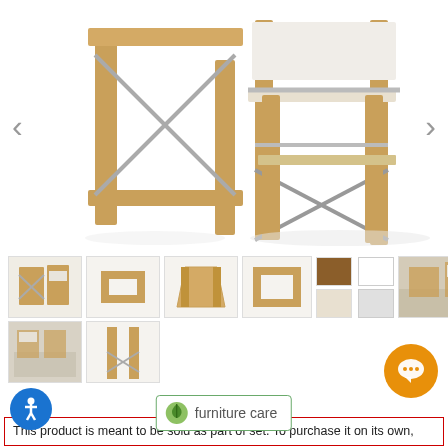[Figure (photo): Close-up product photo of teak wood outdoor furniture set with white canvas chairs and metal cross-bar supports, navigation arrows on sides]
[Figure (photo): Thumbnail gallery showing multiple views of the teak furniture set including table and chairs from various angles, color swatches, and outdoor setting photos]
[Figure (photo): Accessibility icon blue circle button]
[Figure (illustration): Furniture care button with green leaf icon]
[Figure (illustration): Orange chat/support bubble button]
This product is meant to be sold as part of set. To purchase it on its own,